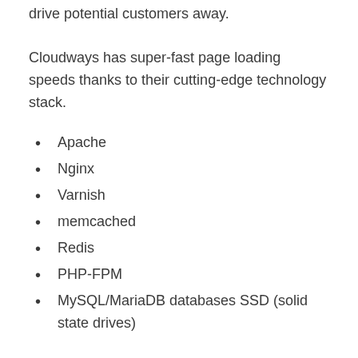drive potential customers away.
Cloudways has super-fast page loading speeds thanks to their cutting-edge technology stack.
Apache
Nginx
Varnish
memcached
Redis
PHP-FPM
MySQL/MariaDB databases SSD (solid state drives)